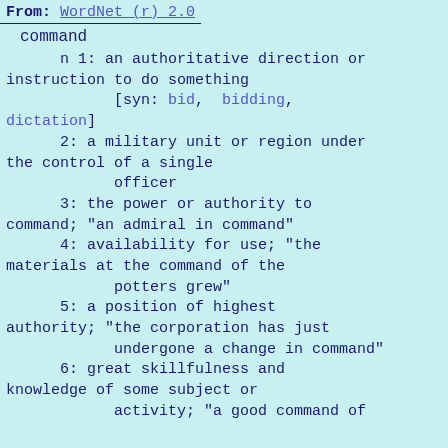From: WordNet (r) 2.0
command
      n 1: an authoritative direction or instruction to do something
            [syn: bid, bidding, dictation]
      2: a military unit or region under the control of a single officer
      3: the power or authority to command; "an admiral in command"
      4: availability for use; "the materials at the command of the potters grew"
      5: a position of highest authority; "the corporation has just undergone a change in command"
      6: great skillfulness and knowledge of some subject or activity; "a good command of French" [syn: ...]